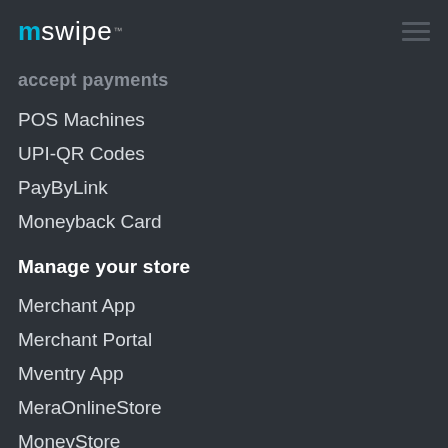mswipe™ [navigation menu]
accept payments
POS Machines
UPI-QR Codes
PayByLink
Moneyback Card
Manage your store
Merchant App
Merchant Portal
Mventry App
MeraOnlineStore
MoneyStore